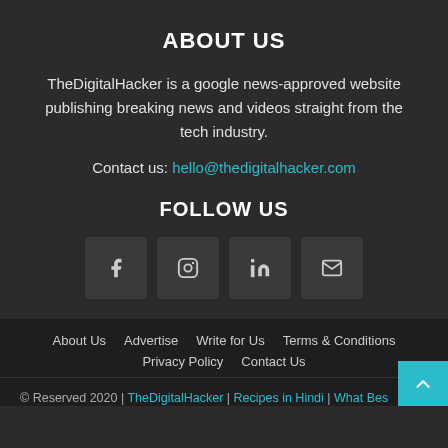ABOUT US
TheDigitalHacker is a google news-approved website publishing breaking news and videos straight from the tech industry.
Contact us: hello@thedigitalhacker.com
FOLLOW US
[Figure (infographic): Four social media icon buttons: Facebook (f), Instagram, LinkedIn (in), Email (envelope)]
About Us  Advertise  Write for Us  Terms & Conditions  Privacy Policy  Contact Us
© Reserved 2020 | TheDigitalHacker | Recipes in Hindi | What Bes...